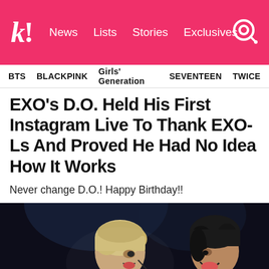k! News Lists Stories Exclusives
BTS   BLACKPINK   Girls' Generation   SEVENTEEN   TWICE
EXO's D.O. Held His First Instagram Live To Thank EXO-Ls And Proved He Had No Idea How It Works
Never change D.O.! Happy Birthday!!
[Figure (photo): Two young men on a dark stage, one with light blonde hair wearing a blue patterned jacket with a microphone, the other with dark hair smiling, both appearing to be K-pop performers]